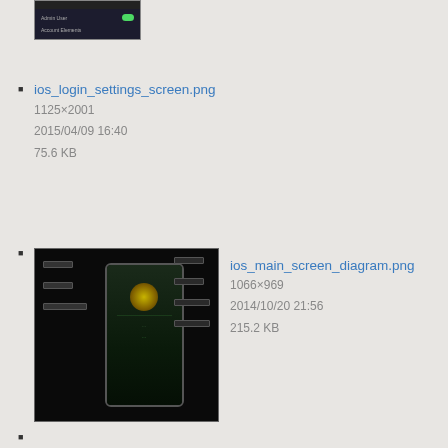[Figure (screenshot): Small thumbnail of iOS login settings screen showing a dark UI with a toggle switch]
ios_login_settings_screen.png
1125×2001
2015/04/09 16:40
75.6 KB
[Figure (screenshot): Thumbnail of iOS main screen diagram showing a phone with a glowing yellow circle and labeled UI elements on dark background]
ios_main_screen_diagram.png
1066×969
2014/10/20 21:56
215.2 KB
[Figure (screenshot): Small thumbnail of iOS remote login screen showing a light-colored settings/login UI with a green checkmark indicator]